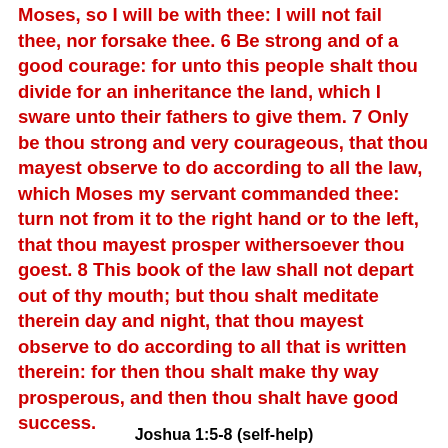Moses, so I will be with thee: I will not fail thee, nor forsake thee. 6 Be strong and of a good courage: for unto this people shalt thou divide for an inheritance the land, which I sware unto their fathers to give them. 7 Only be thou strong and very courageous, that thou mayest observe to do according to all the law, which Moses my servant commanded thee: turn not from it to the right hand or to the left, that thou mayest prosper withersoever thou goest. 8 This book of the law shall not depart out of thy mouth; but thou shalt meditate therein day and night, that thou mayest observe to do according to all that is written therein: for then thou shalt make thy way prosperous, and then thou shalt have good success.
Joshua 1:5-8 (self-help)